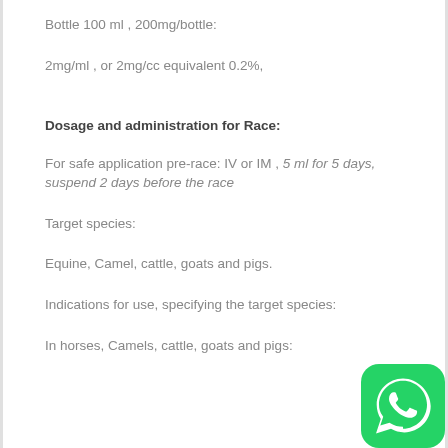Bottle 100 ml , 200mg/bottle:
2mg/ml , or 2mg/cc equivalent 0.2%,
Dosage and administration for Race:
For safe application pre-race: IV or IM , 5 ml for 5 days, suspend 2 days before the race
Target species:
Equine, Camel, cattle, goats and pigs.
Indications for use, specifying the target species:
In horses, Camels, cattle, goats and pigs: